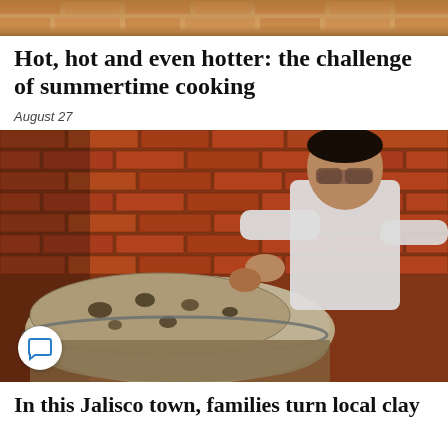[Figure (photo): Top strip image — partial view of an outdoor brick/clay cooking scene]
Hot, hot and even hotter: the challenge of summertime cooking
August 27
[Figure (photo): A man wearing a white t-shirt and glasses lifts a large clay lid on a traditional clay pot oven in a brick-walled workshop in a Jalisco town]
In this Jalisco town, families turn local clay